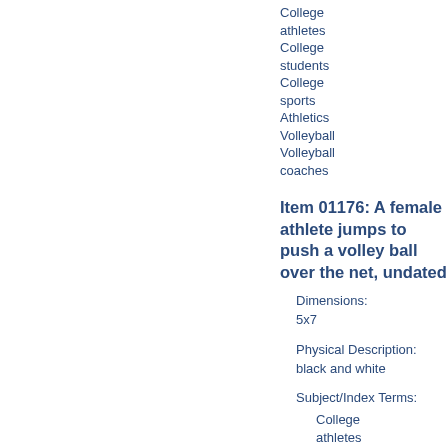College athletes
College students
College sports
Athletics
Volleyball
Volleyball coaches
Item 01176: A female athlete jumps to push a volley ball over the net, undated
Dimensions: 5x7
Physical Description: black and white
Subject/Index Terms:
College athletes
College students
College sports
Athletics